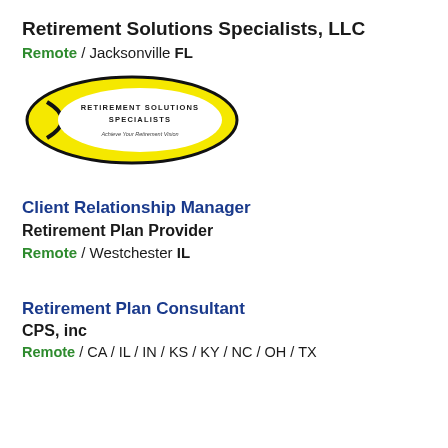Retirement Solutions Specialists, LLC
Remote / Jacksonville FL
[Figure (logo): Retirement Solutions Specialists logo — yellow oval with black outline, text 'RETIREMENT SOLUTIONS SPECIALISTS' and 'Achieve Your Retirement Vision' inside]
Client Relationship Manager
Retirement Plan Provider
Remote / Westchester IL
Retirement Plan Consultant
CPS, inc
Remote / CA / IL / IN / KS / KY / NC / OH / TX